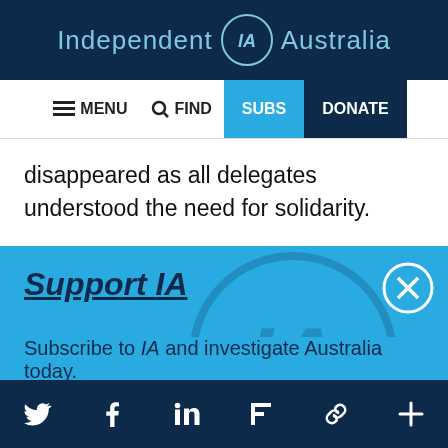Independent IA Australia
MENU  FIND  SUBS  DONATE
disappeared as all delegates understood the need for solidarity.
Support IA
Subscribe to IA and investigate Australia today.
Close  Subscribe  Donate
Twitter  Facebook  LinkedIn  Flipboard  Link  More